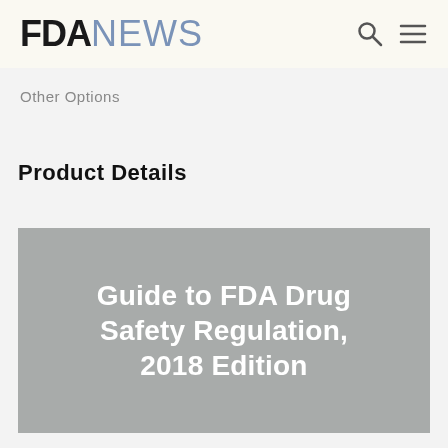FDANEWS
Other Options
Product Details
[Figure (illustration): Book cover image with gray background displaying the title 'Guide to FDA Drug Safety Regulation, 2018 Edition' in white bold text centered on the cover.]